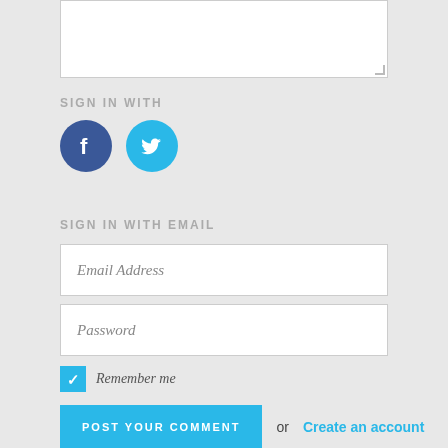[Figure (screenshot): Comment text area input box (white, resizable, partially visible at top)]
SIGN IN WITH
[Figure (illustration): Facebook icon (dark blue circle with white F) and Twitter icon (cyan circle with white bird)]
SIGN IN WITH EMAIL
Email Address (input placeholder, italic)
Password (input placeholder, italic)
Remember me (checkbox checked, italic label)
POST YOUR COMMENT  or  Create an account